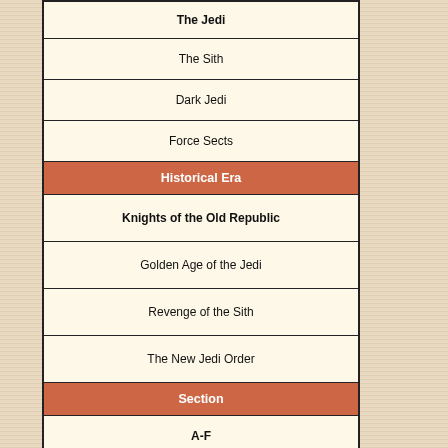| The Jedi |
| The Sith |
| Dark Jedi |
| Force Sects |
| Historical Era |
| Knights of the Old Republic |
| Golden Age of the Jedi |
| Revenge of the Sith |
| The New Jedi Order |
| Section |
| A-F |
| G-N |
| O-S |
| T-Z |